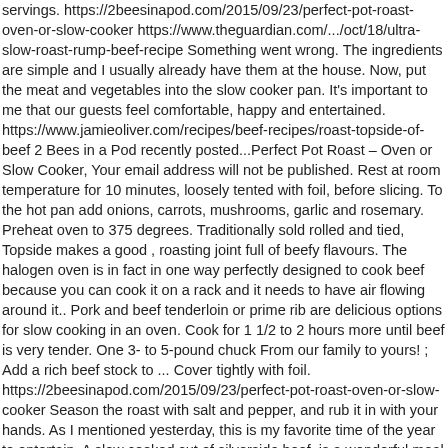servings. https://2beesinapod.com/2015/09/23/perfect-pot-roast-oven-or-slow-cooker https://www.theguardian.com/.../oct/18/ultra-slow-roast-rump-beef-recipe Something went wrong. The ingredients are simple and I usually already have them at the house. Now, put the meat and vegetables into the slow cooker pan. It's important to me that our guests feel comfortable, happy and entertained. https://www.jamieoliver.com/recipes/beef-recipes/roast-topside-of-beef 2 Bees in a Pod recently posted...Perfect Pot Roast – Oven or Slow Cooker, Your email address will not be published. Rest at room temperature for 10 minutes, loosely tented with foil, before slicing. To the hot pan add onions, carrots, mushrooms, garlic and rosemary. Preheat oven to 375 degrees. Traditionally sold rolled and tied, Topside makes a good , roasting joint full of beefy flavours. The halogen oven is in fact in one way perfectly designed to cook beef because you can cook it on a rack and it needs to have air flowing around it.. Pork and beef tenderloin or prime rib are delicious options for slow cooking in an oven. Cook for 1 1/2 to 2 hours more until beef is very tender. One 3- to 5-pound chuck From our family to yours! ; Add a rich beef stock to ... Cover tightly with foil. https://2beesinapod.com/2015/09/23/perfect-pot-roast-oven-or-slow-cooker Season the roast with salt and pepper, and rub it in with your hands. As I mentioned yesterday, this is my favorite time of the year to entertain. A slow cooked cut of silverside beef, is a wonderful meal to prepare if you are cooking for four people plus. Journal Keep up to date with the latest news...